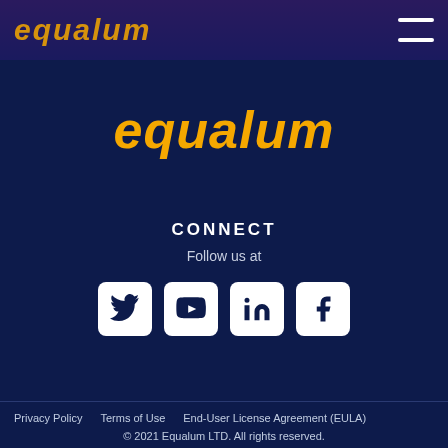equalum
[Figure (logo): Equalum logo in yellow/gold italic text on dark navy background, centered on page]
CONNECT
Follow us at
[Figure (infographic): Four social media icon buttons in white rounded squares: Twitter, YouTube, LinkedIn, Facebook]
Privacy Policy     Terms of Use     End-User License Agreement (EULA)
© 2021 Equalum LTD. All rights reserved.